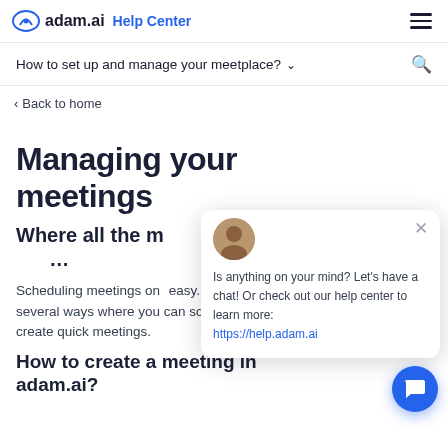adam.ai Help Center
How to set up and manage your meetplace?
< Back to home
Managing your meetings
Where all the m...
Scheduling meetings on... easy. There are several ways where you can schedule or create quick meetings.
[Figure (screenshot): Chat popup from adam.ai with avatar, close button, message 'Is anything on your mind? Let's have a chat! Or check out our help center to learn more: https://help.adam.ai', and a blue chat button]
How to create a meeting in adam.ai?